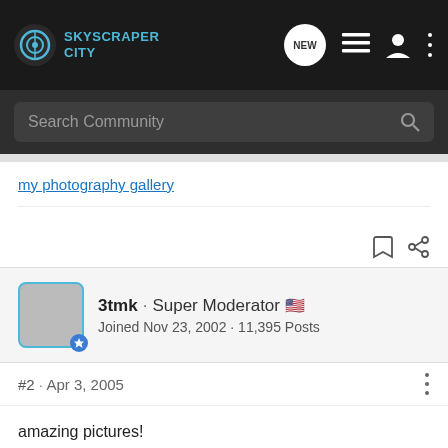SkyscraperCity
Search Community
my photography gallery
3tmk · Super Moderator
Joined Nov 23, 2002 · 11,395 Posts
#2 · Apr 3, 2005
amazing pictures!
so you made all these pics in a matter of hours in the city?
anyway, the midtown skyline shots from the ESB are awesome as always.